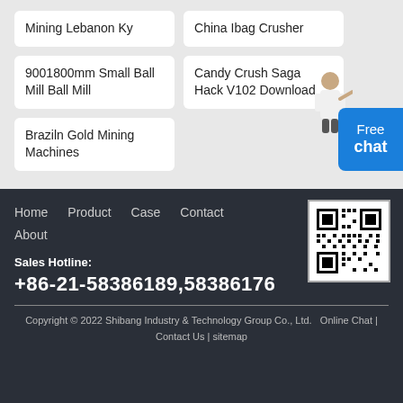Mining Lebanon Ky
China Ibag Crusher
9001800mm Small Ball Mill Ball Mill
Candy Crush Saga Hack V102 Download
Braziln Gold Mining Machines
[Figure (illustration): Person figure (woman) pointing, next to Free chat widget button]
Home   Product   Case   Contact
About
[Figure (other): QR code for Shibang Industry & Technology Group]
Sales Hotline:
+86-21-58386189,58386176
Copyright © 2022 Shibang Industry & Technology Group Co., Ltd.   Online Chat | Contact Us | sitemap